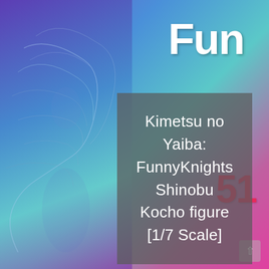[Figure (photo): Background product/figure photo showing an anime figure (Shinobu Kocho from Kimetsu no Yaiba) with butterfly wing patterns, purple and teal color scheme, with FunnyKnights branding partially visible in upper right and pink logo element on right side.]
Kimetsu no Yaiba: FunnyKnights Shinobu Kocho figure [1/7 Scale]